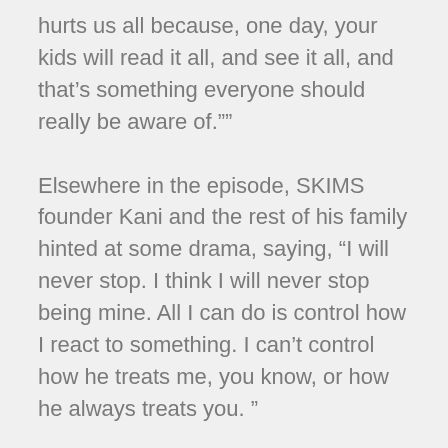hurts us all because, one day, your kids will read it all, and see it all, and that’s something everyone should really be aware of.””
Elsewhere in the episode, SKIMS founder Kani and the rest of his family hinted at some drama, saying, “I will never stop. I think I will never stop being mine. All I can do is control how I react to something. I can’t control how he treats me, you know, or how he always treats you. ”
While it’s not clear if he’s talking about a family rift, many fans have speculated that Kim is referring to